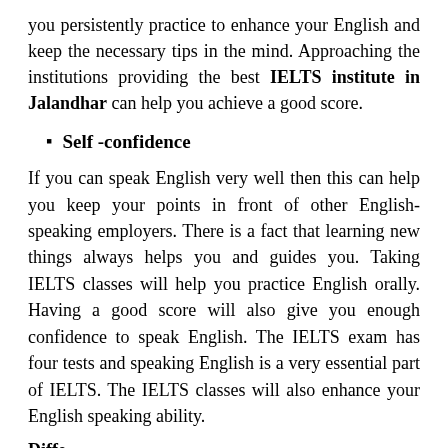you persistently practice to enhance your English and keep the necessary tips in the mind. Approaching the institutions providing the best IELTS institute in Jalandhar can help you achieve a good score.
Self -confidence
If you can speak English very well then this can help you keep your points in front of other English-speaking employers. There is a fact that learning new things always helps you and guides you. Taking IELTS classes will help you practice English orally. Having a good score will also give you enough confidence to speak English. The IELTS exam has four tests and speaking English is a very essential part of IELTS. The IELTS classes will also enhance your English speaking ability.
Diffe...